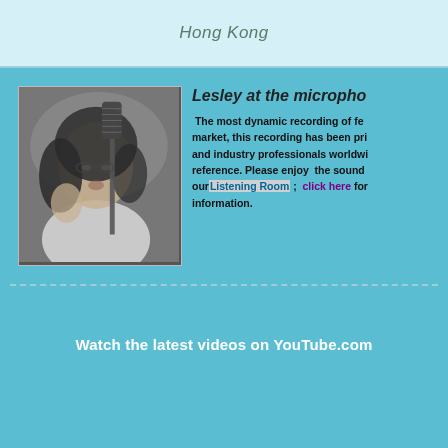Hong Kong
[Figure (photo): Black and white photo of Lesley at the microphone, close-up shot of a woman singing into a studio microphone]
Lesley at the micropho...
The most dynamic recording of fe... market, this recording has been pri... and industry professionals worldwi... reference. Please enjoy the sound ... our Listening Room; click here for information.
Watch the latest videos on YouTube.com